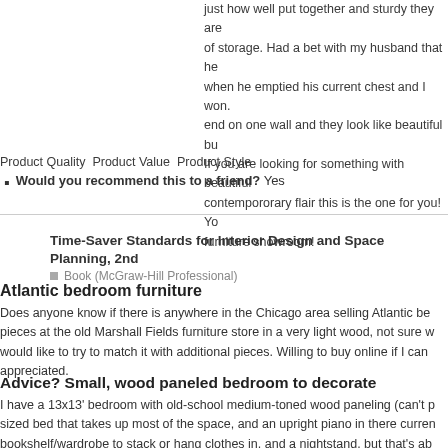just how well put together and sturdy they are of storage. Had a bet with my husband that he when he emptied his current chest and I won. end on one wall and they look like beautiful bu If you are looking for something with beautiful contempororary flair this is the one for you! Yo furniture showroom!
Product Quality Product Value Product Style
Would you recommend this to a friend? Yes
Time-Saver Standards for Interior Design and Space Planning, 2nd
Book (McGraw-Hill Professional)
Atlantic bedroom furniture
Does anyone know if there is anywhere in the Chicago area selling Atlantic be pieces at the old Marshall Fields furniture store in a very light wood, not sure w would like to try to match it with additional pieces. Willing to buy online if I can appreciated.
Advice? Small, wood paneled bedroom to decorate
I have a 13x13' bedroom with old-school medium-toned wood paneling (can't p sized bed that takes up most of the space, and an upright piano in there curren bookshelf/wardrobe to stack or hang clothes in, and a nightstand, but that's ab